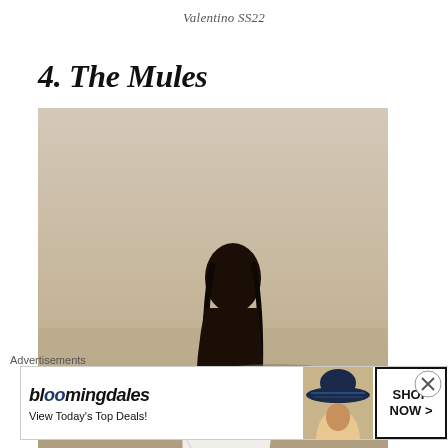Valentino SS22
4. The Mules
[Figure (photo): A model wearing a white ruffled mini dress stands on rocky terrain with a winding road and hills in the background]
Advertisements
[Figure (infographic): Bloomingdale's advertisement banner reading 'View Today's Top Deals!' with SHOP NOW > button and image of woman in large hat]